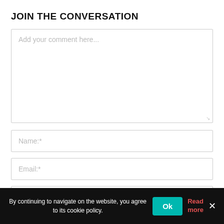JOIN THE CONVERSATION
Add your comment here...
Name:*
Email:*
Website:
By continuing to navigate on the website, you agree to its cookie policy.
Ok
Read more